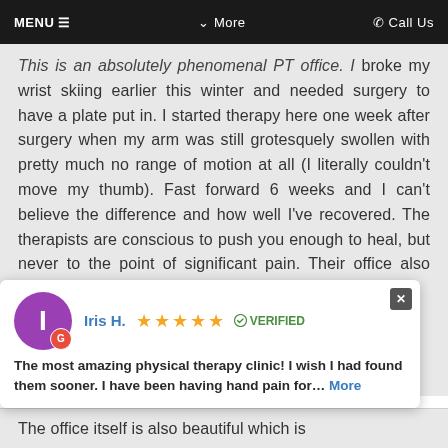MENU ≡   ∨ More   ☎ Call Us
This is an absolutely phenomenal PT office. I broke my wrist skiing earlier this winter and needed surgery to have a plate put in. I started therapy here one week after surgery when my arm was still grotesquely swollen with pretty much no range of motion at all (I literally couldn't move my thumb). Fast forward 6 weeks and I can't believe the difference and how well I've recovered. The therapists are conscious to push you enough to heal, but never to the point of significant pain. Their office also offers laser treatment
Iris H. ★★★★★ ✓ VERIFIED
The most amazing physical therapy clinic! I wish I had found them sooner. I have been having hand pain for... More
The office itself is also beautiful which is